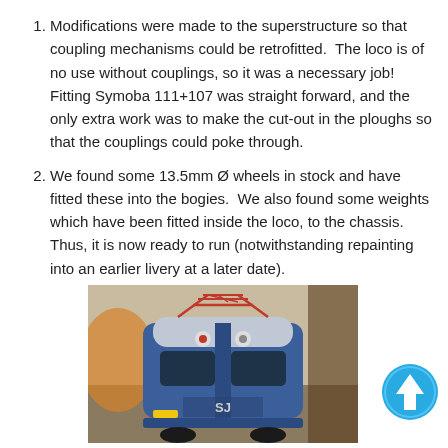Modifications were made to the superstructure so that coupling mechanisms could be retrofitted.  The loco is of no use without couplings, so it was a necessary job!  Fitting Symoba 111+107 was straight forward, and the only extra work was to make the cut-out in the ploughs so that the couplings could poke through.
We found some 13.5mm Ø wheels in stock and have fitted these into the bogies.  We also found some weights which have been fitted inside the loco, to the chassis.  Thus, it is now ready to run (notwithstanding repainting into an earlier livery at a later date).
[Figure (photo): Front view of a blue model train locomotive (SJ livery) with red pantograph/catenary detail on top, shown at close range on a model railway layout.]